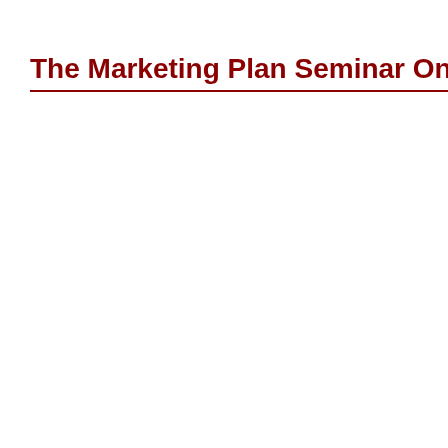The Marketing Plan Seminar On Line